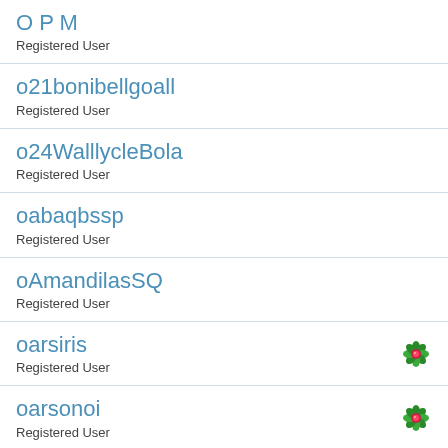O P M
Registered User
o21bonibellgoall
Registered User
o24WalllycleBola
Registered User
oabaqbssp
Registered User
oAmandilasSQ
Registered User
oarsiris
Registered User
oarsonoi
Registered User
oaSimon
Registered User